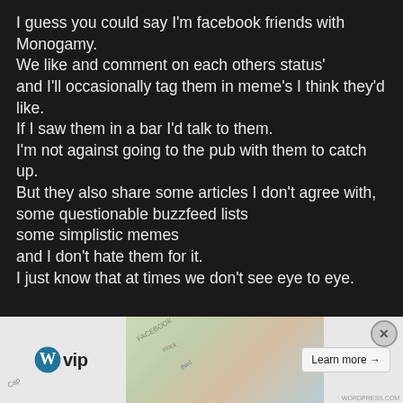I guess you could say I'm facebook friends with Monogamy.
We like and comment on each others status'
and I'll occasionally tag them in meme's I think they'd like.
If I saw them in a bar I'd talk to them.
I'm not against going to the pub with them to catch up.
But they also share some articles I don't agree with, some questionable buzzfeed lists
some simplistic memes
and I don't hate them for it.
I just know that at times we don't see eye to eye.
[Figure (screenshot): WordPress VIP advertisement banner with map background imagery and a Learn more button]